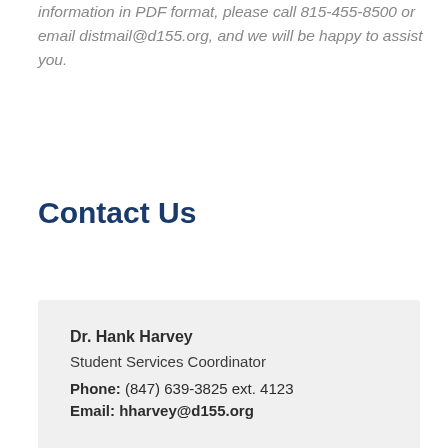information in PDF format, please call 815-455-8500 or email distmail@d155.org, and we will be happy to assist you.
Contact Us
Dr. Hank Harvey
Student Services Coordinator
Phone: (847) 639-3825 ext. 4123
Email: hharvey@d155.org